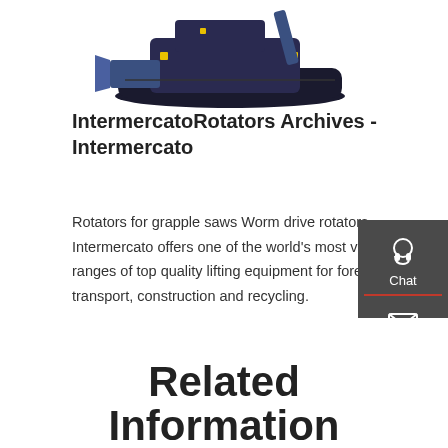[Figure (photo): Industrial tracked machine (mini dozer / crawler) with blade attachment, photographed on white background, partially cut off at top of page]
IntermercatoRotators Archives - Intermercato
Rotators for grapple saws Worm drive rotators Intermercato offers one of the world's most versatile ranges of top quality lifting equipment for forestry, transport, construction and recycling.
[Figure (infographic): Dark grey sidebar with Chat (headset icon), Email (envelope icon), and Contact (speech bubble icon) buttons, separated by red divider lines]
Get a quote
Related Information